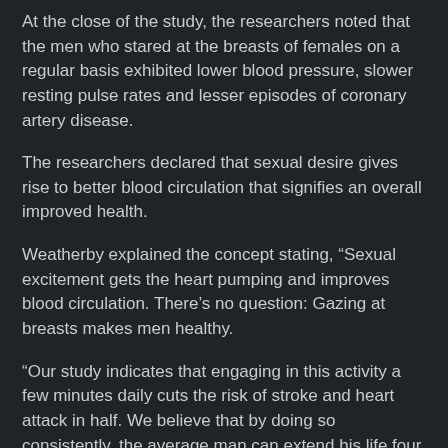At the close of the study, the researchers noted that the men who stared at the breasts of females on a regular basis exhibited lower blood pressure, slower resting pulse rates and lesser episodes of coronary artery disease.
The researchers declared that sexual desire gives rise to better blood circulation that signifies an overall improved health.
Weatherby explained the concept stating, “Sexual excitement gets the heart pumping and improves blood circulation. There’s no question: Gazing at breasts makes men healthy.
“Our study indicates that engaging in this activity a few minutes daily cuts the risk of stroke and heart attack in half. We believe that by doing so consistently, the average man can extend his life four to five years.”
In addition, she also recommended that men over 40 should gaze at larger breasts daily for 10 minutes.